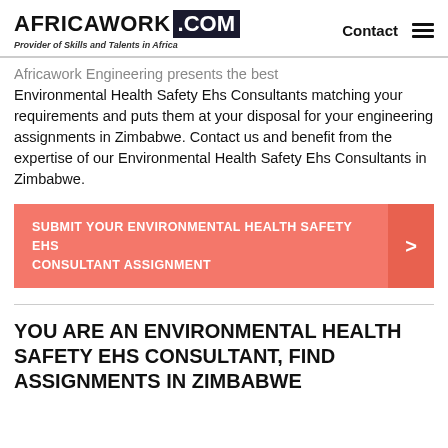AFRICAWORK .COM — Provider of Skills and Talents in Africa | Contact
Africawork Engineering presents the best Environmental Health Safety Ehs Consultants matching your requirements and puts them at your disposal for your engineering assignments in Zimbabwe. Contact us and benefit from the expertise of our Environmental Health Safety Ehs Consultants in Zimbabwe.
SUBMIT YOUR ENVIRONMENTAL HEALTH SAFETY EHS CONSULTANT ASSIGNMENT
YOU ARE AN ENVIRONMENTAL HEALTH SAFETY EHS CONSULTANT, FIND ASSIGNMENTS IN ZIMBABWE